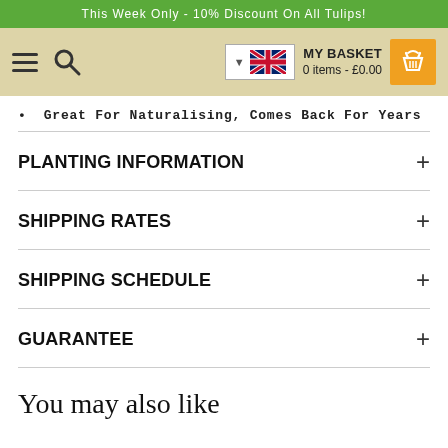This Week Only - 10% Discount On All Tulips!
[Figure (screenshot): Navigation bar with hamburger menu, search icon, UK flag dropdown, and MY BASKET showing 0 items - £0.00 with orange basket icon]
Great For Naturalising, Comes Back For Years
PLANTING INFORMATION
SHIPPING RATES
SHIPPING SCHEDULE
GUARANTEE
You may also like